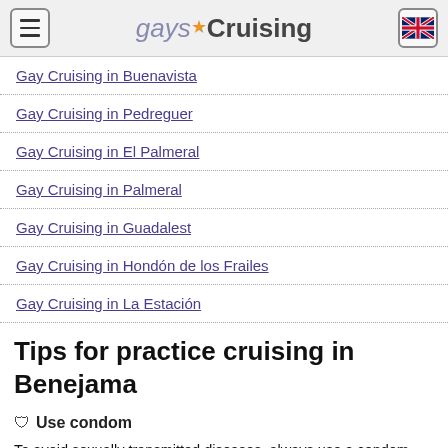gaysCruising
Gay Cruising in Buenavista
Gay Cruising in Pedreguer
Gay Cruising in El Palmeral
Gay Cruising in Palmeral
Gay Cruising in Guadalest
Gay Cruising in Hondón de los Frailes
Gay Cruising in La Estación
Tips for practice cruising in Benejama
Use condom
To avoid sexually transmitted diseases, always use a condom. When finished, remember to collect everything (condom